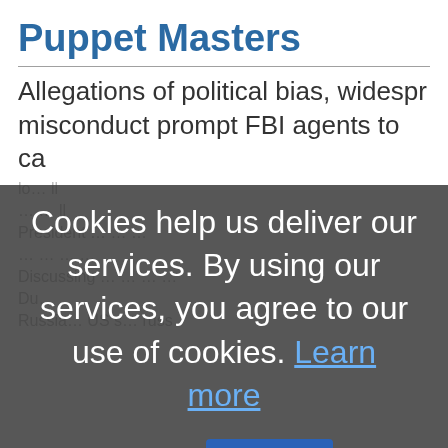Puppet Masters
Allegations of political bias, widespread misconduct prompt FBI agents to ca...
Cookies help us deliver our services. By using our services, you agree to our use of cookies. Learn more  OK